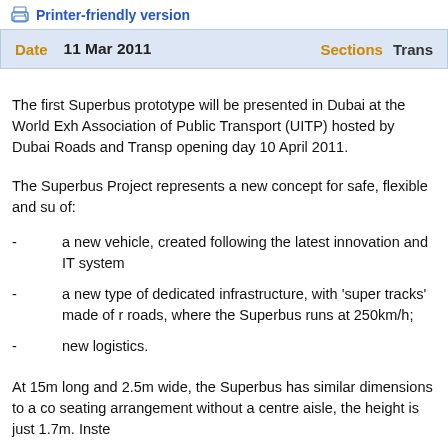Printer-friendly version
| Date |  | Sections | Trans... |
| --- | --- | --- | --- |
| 11 Mar 2011 |  |  |  |
The first Superbus prototype will be presented in Dubai at the World Exh... Association of Public Transport (UITP) hosted by Dubai Roads and Transp... opening day 10 April 2011.
The Superbus Project represents a new concept for safe, flexible and su... of:
a new vehicle, created following the latest innovation and IT system...
a new type of dedicated infrastructure, with 'super tracks' made of r... roads, where the Superbus runs at 250km/h;
new logistics.
At 15m long and 2.5m wide, the Superbus has similar dimensions to a co... seating arrangement without a centre aisle, the height is just 1.7m. Inste...